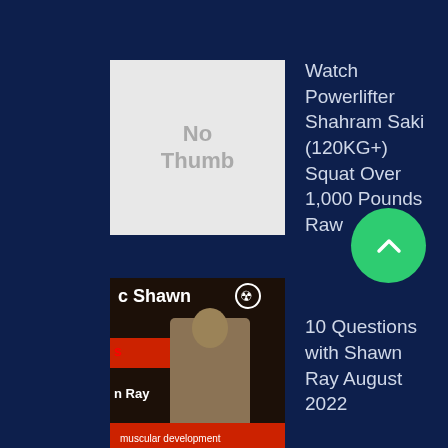Watch Powerlifter Shahram Saki (120KG+) Squat Over 1,000 Pounds Raw
10 Questions with Shawn Ray August 2022
How To Achieve the Bodybuilder Look
BUILD MUSCLE WORKOUT
BMI Vs. Body Fat: Which Is More Important?